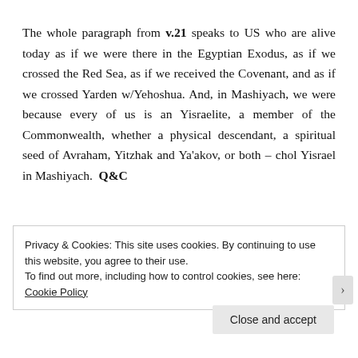The whole paragraph from v.21 speaks to US who are alive today as if we were there in the Egyptian Exodus, as if we crossed the Red Sea, as if we received the Covenant, and as if we crossed Yarden w/Yehoshua. And, in Mashiyach, we were because every of us is an Yisraelite, a member of the Commonwealth, whether a physical descendant, a spiritual seed of Avraham, Yitzhak and Ya'akov, or both – chol Yisrael in Mashiyach. Q&C
Privacy & Cookies: This site uses cookies. By continuing to use this website, you agree to their use.
To find out more, including how to control cookies, see here: Cookie Policy
Close and accept